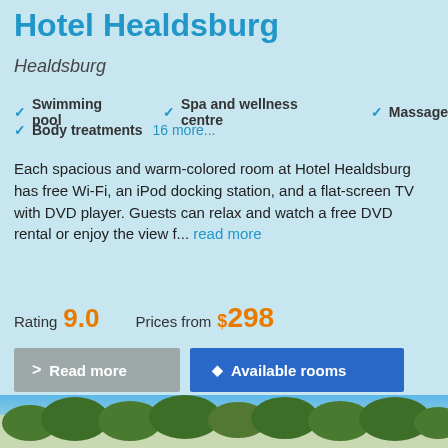Hotel Healdsburg
Healdsburg
Swimming pool
Spa and wellness centre
Massage
Body treatments  16 more...
Each spacious and warm-colored room at Hotel Healdsburg has free Wi-Fi, an iPod docking station, and a flat-screen TV with DVD player. Guests can relax and watch a free DVD rental or enjoy the view f... read more
Rating 9.0    Prices from $298
Read more  Available rooms
[Figure (photo): Outdoor photo showing green treetops against a blue sky, landscape view]